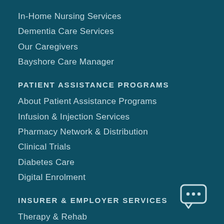In-Home Nursing Services
Dementia Care Services
Our Caregivers
Bayshore Care Manager
PATIENT ASSISTANCE PROGRAMS
About Patient Assistance Programs
Infusion & Injection Services
Pharmacy Network & Distribution
Clinical Trials
Diabetes Care
Digital Enrolment
INSURER & EMPLOYER SERVICES
Therapy & Rehab
Residential Rehab (formerly NRIO)
Carepath
[Figure (illustration): Chat/messaging icon with three dots inside a speech bubble, rendered in white outline style]